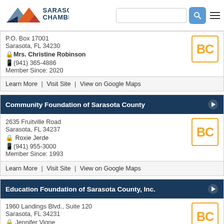Sarasota Chamber – member directory header with search
P.O. Box 17001
Sarasota, FL 34230
Mrs. Christine Robinson
(941) 365-4886
Member Since: 2020
Learn More | Visit Site | View on Google Maps
Community Foundation of Sarasota County
2635 Fruitville Road
Sarasota, FL 34237
Roxie Jerde
(941) 955-3000
Member Since: 1993
Learn More | Visit Site | View on Google Maps
Education Foundation of Sarasota County, Inc.
1960 Landings Blvd., Suite 120
Sarasota, FL 34231
Jennifer Vigne